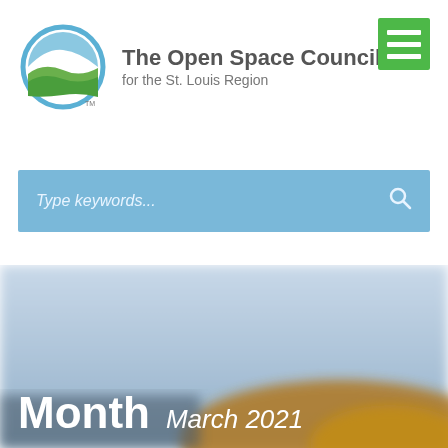[Figure (logo): The Open Space Council for the St. Louis Region logo — circular design with blue arc and green wave/leaf motif]
The Open Space Council for the St. Louis Region
[Figure (illustration): Green hamburger menu button (three white horizontal lines on green square background)]
Type keywords...
[Figure (photo): Blurred landscape photo with sky and golden/brown terrain in lower right, overlaid with text: Month  March 2021]
Month  March 2021